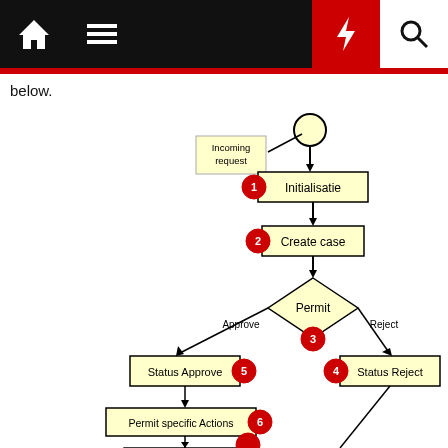below.
[Figure (flowchart): Flowchart showing a permit request process. Starts with 'Incoming request' note and start node, flows to '1 Initialisatie', then '2 Create case', then a diamond 'Permit' decision node with numbered circle 3. Approve branch leads to '5 Status Approve', Reject branch leads to '4 Status Reject'. Status Approve leads to '6 Permit specific Actions' and then down. A line from Status Reject rejoins lower in the flow.]